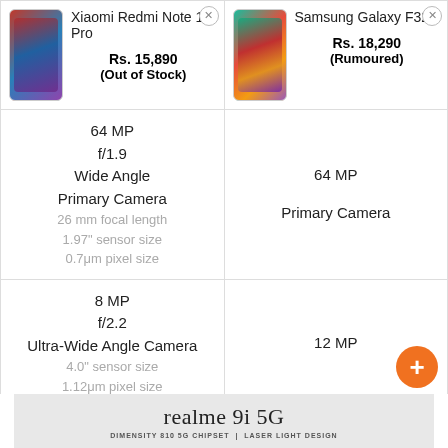| Xiaomi Redmi Note 10 Pro | Samsung Galaxy F32 |
| --- | --- |
| Rs. 15,890 (Out of Stock) | Rs. 18,290 (Rumoured) |
| 64 MP
f/1.9
Wide Angle
Primary Camera
26 mm focal length
1.97" sensor size
0.7μm pixel size | 64 MP
Primary Camera |
| 8 MP
f/2.2
Ultra-Wide Angle Camera
4.0" sensor size
1.12μm pixel size | 12 MP |
| 5 MP
f/2.4 | 5 MP |
[Figure (screenshot): Advertisement banner for realme 9i 5G with text 'DIMENSITY 810 5G CHIPSET | LASER LIGHT DESIGN']